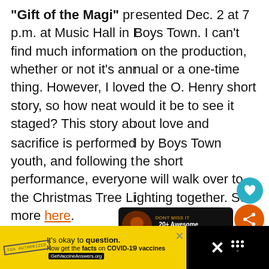"Gift of the Magi" presented Dec. 2 at 7 p.m. at Music Hall in Boys Town. I can't find much information on the production, whether or not it's annual or a one-time thing. However, I loved the O. Henry short story, so how neat would it be to see it staged? This story about love and sacrifice is performed by Boys Town youth, and following the short performance, everyone will walk over to the Christmas Tree Lighting together. See more here.
[Figure (screenshot): Social media UI buttons: teal heart/like button and orange share button]
[Figure (screenshot): Notification popup: dark background, orange/fire image, text '20+ Awesome Halloween...']
[Figure (screenshot): Advertisement bar at bottom: yellow background with 'It's okay to question. Now get the facts on COVID-19 vaccines GetVaccineAnswers.org', close X, and right-side icons on black background]